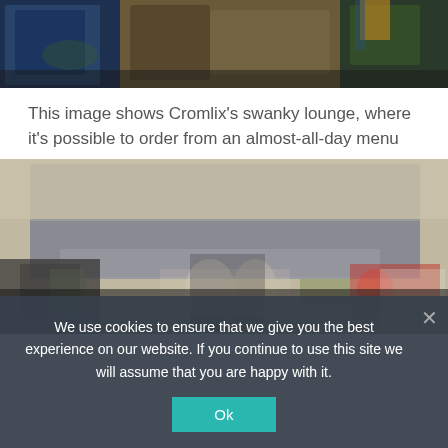[Figure (photo): Top portion of a photo showing a swanky hotel lounge with blue upholstered chairs, a round glass table with gold legs, and an olive/yellow barstool in the background.]
This image shows Cromlix’s swanky lounge, where it’s possible to order from an almost-all-day menu
[Figure (photo): A professional kitchen scene with chefs in black aprons working at a stainless steel prep station, a large overhead hood, vegetables visible on the counter, and another chef working in the background.]
We use cookies to ensure that we give you the best experience on our website. If you continue to use this site we will assume that you are happy with it.